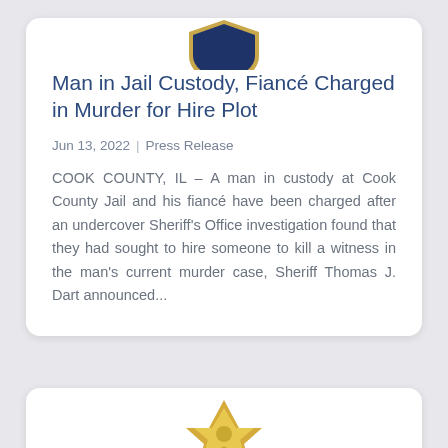[Figure (logo): Cook County Sheriff badge/logo (navy blue and gold shield), partially visible at top of first card]
Man in Jail Custody, Fiancé Charged in Murder for Hire Plot
Jun 13, 2022 | Press Release
COOK COUNTY, IL – A man in custody at Cook County Jail and his fiancé have been charged after an undercover Sheriff's Office investigation found that they had sought to hire someone to kill a witness in the man's current murder case, Sheriff Thomas J. Dart announced...
[Figure (logo): Partial gold/yellow star badge logo visible at bottom of page in second card]